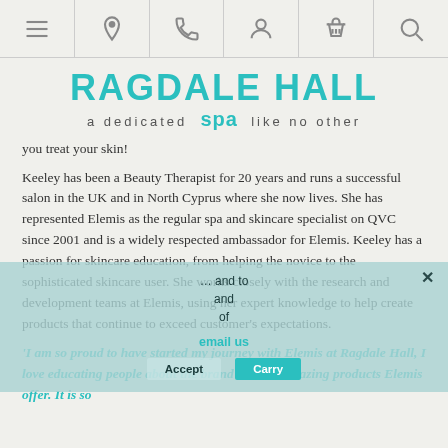[Figure (screenshot): Navigation bar with icons: hamburger menu, location pin, phone, person/account, shopping basket, search]
RAGDALE HALL SPA a dedicated spa like no other
you treat your skin!
Keeley has been a Beauty Therapist for 20 years and runs a successful salon in the UK and in North Cyprus where she now lives. She has represented Elemis as the regular spa and skincare specialist on QVC since 2001 and is a widely respected ambassador for Elemis. Keeley has a passion for skincare education, from helping the novice to the sophisticated skincare user. She works closely with the research and development teams at Elemis, using her expert knowledge to help create products that continue to exceed customer's expectations.
'I am so proud to have started my journey with Elemis at Ragdale Hall, I love educating people about the brand and the amazing products Elemis offer. It is so